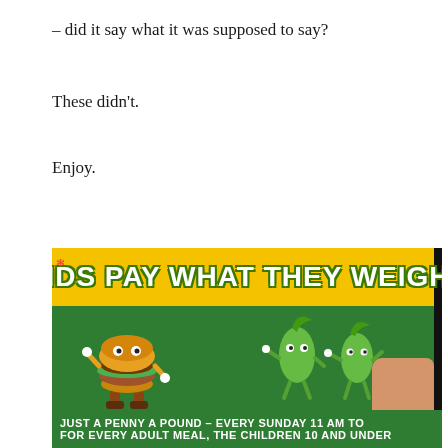– did it say what it was supposed to say?
These didn't.
Enjoy.
[Figure (photo): A restaurant sign on a green background with a yellow banner reading 'KIDS PAY WHAT THEY WEIGH!' with cartoon food characters (burger, vegetables) and text 'JUST A PENNY A POUND – EVERY SUNDAY 11 AM TO [cut off]' at the bottom. A person's hand is visible on the right side.]